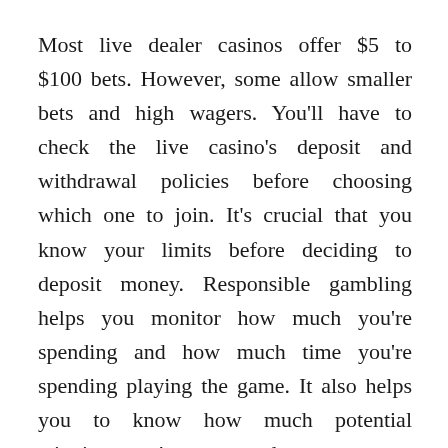Most live dealer casinos offer $5 to $100 bets. However, some allow smaller bets and high wagers. You'll have to check the live casino's deposit and withdrawal policies before choosing which one to join. It's crucial that you know your limits before deciding to deposit money. Responsible gambling helps you monitor how much you're spending and how much time you're spending playing the game. It also helps you to know how much potential winnings you've generated.
Live dealer casinos are also a good choice for people who prefer a social experience. The live dealers shuffle cards by hand, and they have people to answer to in case something goes wrong. Additionally, you can watch the live dealers play and can easily spot when they're trying to pull a fast one. Live casino online is a safe option if you're